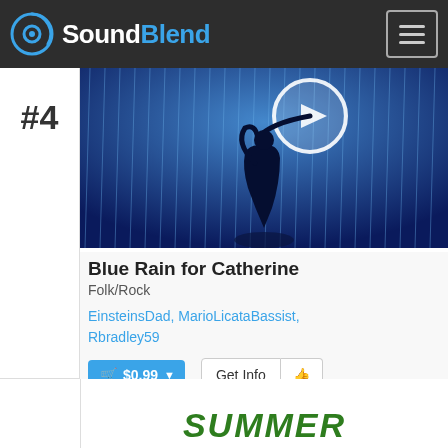SoundBlend
#4
[Figure (illustration): Album art for Blue Rain for Catherine: silhouette of a child with arms raised under blue rain with a glowing moon/play button circle]
Blue Rain for Catherine
Folk/Rock
EinsteinsDad, MarioLicataBassist, Rbradley59
$0.99
Get Info
[Figure (illustration): Partial view of next song listing showing italic green text spelling SUMMER]